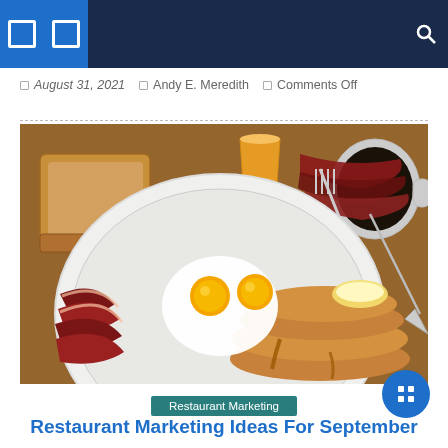Navigation bar with menu icons and search
August 31, 2021  Andy E. Meredith  Comments Off
[Figure (photo): A breakfast plate with pancakes topped with butter and syrup, fried eggs sunny-side up, crispy bacon strips, toast, a glass of orange juice, and a cup of coffee on a wooden table.]
Restaurant Marketing
Restaurant Marketing Ideas For September